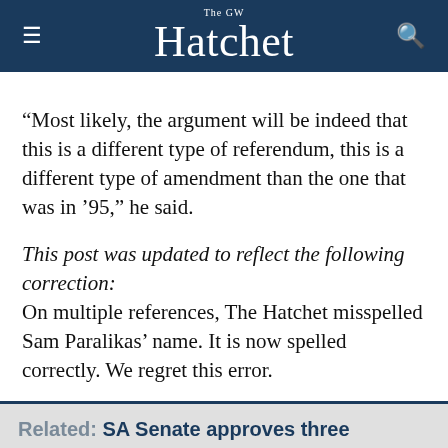The GW Hatchet
“Most likely, the argument will be indeed that this is a different type of referendum, this is a different type of amendment than the one that was in ’95,” he said.
This post was updated to reflect the following correction:
On multiple references, The Hatchet misspelled Sam Paralikas’ name. It is now spelled correctly. We regret this error.
Related: SA Senate approves three referendums for student election ballot
The SA Senate passed three bills Monday, allowing...